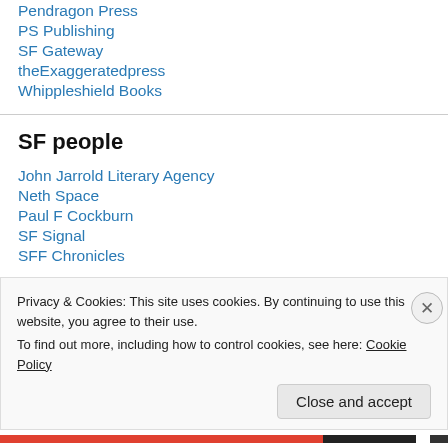Pendragon Press
PS Publishing
SF Gateway
theExaggeratedpress
Whippleshield Books
SF people
John Jarrold Literary Agency
Neth Space
Paul F Cockburn
SF Signal
SFF Chronicles
Privacy & Cookies: This site uses cookies. By continuing to use this website, you agree to their use.
To find out more, including how to control cookies, see here: Cookie Policy